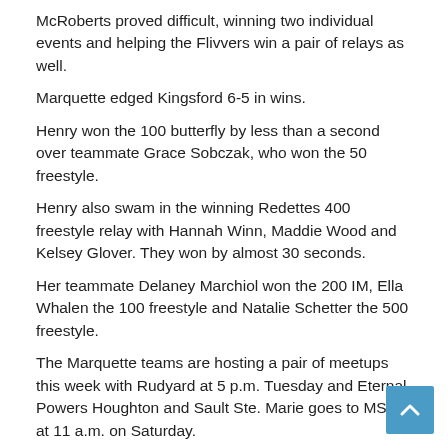McRoberts proved difficult, winning two individual events and helping the Flivvers win a pair of relays as well.
Marquette edged Kingsford 6-5 in wins.
Henry won the 100 butterfly by less than a second over teammate Grace Sobczak, who won the 50 freestyle.
Henry also swam in the winning Redettes 400 freestyle relay with Hannah Winn, Maddie Wood and Kelsey Glover. They won by almost 30 seconds.
Her teammate Delaney Marchiol won the 200 IM, Ella Whalen the 100 freestyle and Natalie Schetter the 500 freestyle.
The Marquette teams are hosting a pair of meetups this week with Rudyard at 5 p.m. Tuesday and Eternal Powers Houghton and Sault Ste. Marie goes to MSHS at 11 a.m. on Saturday.
Information compiled by Sports Journal Editor Steve Brownlee. His email address is sbrownlee@miningjournal.net